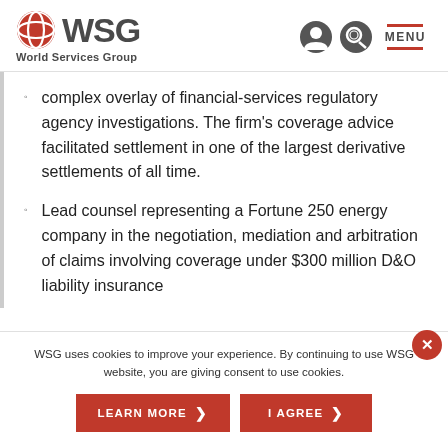WSG World Services Group
complex overlay of financial-services regulatory agency investigations. The firm's coverage advice facilitated settlement in one of the largest derivative settlements of all time.
Lead counsel representing a Fortune 250 energy company in the negotiation, mediation and arbitration of claims involving coverage under $300 million D&O liability insurance
WSG uses cookies to improve your experience. By continuing to use WSG website, you are giving consent to use cookies.